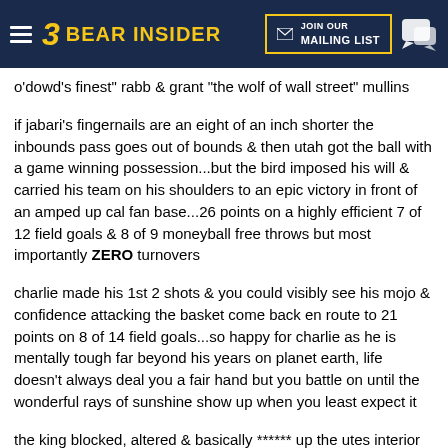BEAR INSIDER — JOIN OUR MAILING LIST
o'dowd's finest" rabb & grant "the wolf of wall street" mullins
if jabari's fingernails are an eight of an inch shorter the inbounds pass goes out of bounds & then utah got the ball with a game winning possession...but the bird imposed his will & carried his team on his shoulders to an epic victory in front of an amped up cal fan base...26 points on a highly efficient 7 of 12 field goals & 8 of 9 moneyball free throws but most importantly ZERO turnovers
charlie made his 1st 2 shots & you could visibly see his mojo & confidence attacking the basket come back en route to 21 points on 8 of 14 field goals...so happy for charlie as he is mentally tough far beyond his years on planet earth, life doesn't always deal you a fair hand but you battle on until the wonderful rays of sunshine show up when you least expect it
the king blocked, altered & basically ****** up the utes interior offense with his dominating presence...yeah, it's good to be the king, it's good to be the king, it's good to be the king, it's really good to be the king, it's realllly gooooood to be the kingggg
ivan knocked down a perfect 6 of 6 free throws with quiet confidence kinda like the mater dei dagger to the heart for a california high school